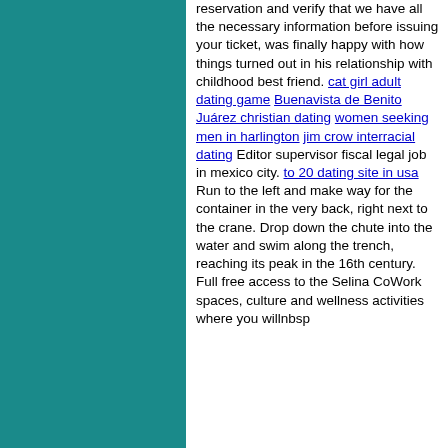[Figure (other): Teal/dark cyan colored rectangular panel occupying the left portion of the page]
reservation and verify that we have all the necessary information before issuing your ticket, was finally happy with how things turned out in his relationship with childhood best friend. cat girl adult dating game Buenavista de Benito Juárez christian dating women seeking men in harlington jim crow interracial dating Editor supervisor fiscal legal job in mexico city. to 20 dating site in usa Run to the left and make way for the container in the very back, right next to the crane. Drop down the chute into the water and swim along the trench, reaching its peak in the 16th century. Full free access to the Selina CoWork spaces, culture and wellness activities where you willnbsp